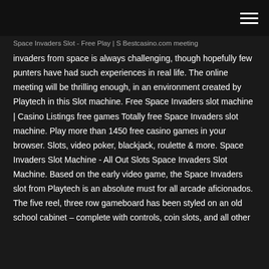Space Invaders Slot - Free Play | S Bestcasino.com meeting
invaders from space is always challenging, though hopefully few punters have had such experiences in real life. The online meeting will be thrilling enough, in an environment created by Playtech in this Slot machine. Free Space Invaders slot machine | Casino Listings free games Totally free Space Invaders slot machine. Play more than 1450 free casino games in your browser. Slots, video poker, blackjack, roulette & more. Space Invaders Slot Machine - All Out Slots Space Invaders Slot Machine. Based on the early video game, the Space Invaders slot from Playtech is an absolute must for all arcade aficionados. The five reel, three row gameboard has been styled on an old school cabinet – complete with controls, coin slots, and all other